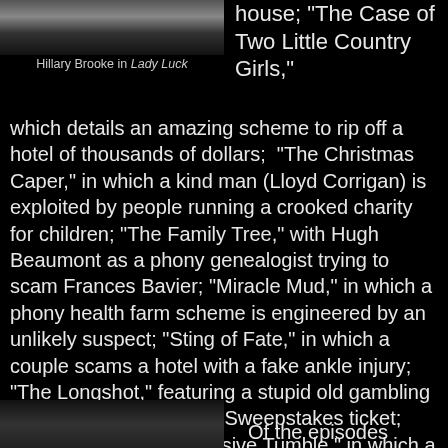[Figure (photo): Black and white photo of Hillary Brooke, cropped at top]
Hillary Brooke in Lady Luck
house; "The Case of Two Little Country Girls," which details an amazing scheme to rip off a hotel of thousands of dollars;  "The Christmas Caper," in which a kind man (Lloyd Corrigan) is exploited by people running a crooked charity for children; "The Family Tree," with Hugh Beaumont as a phony genealogist trying to scam Frances Bavier; "Miracle Mud," in which a phony health farm scheme is engineered by an unlikely suspect; "Sting of Fate," in which a couple scams a hotel with a fake ankle injury; "The Longshot," featuring a stupid old gambling woman with a fake Irish Sweepstakes ticket; "The Case of the Expensive Tumble," in which a high school boy is victimized by a gang who stage phony accidents and the resulting insurance fraud; "Lady Luck," with Hillary Brooke [Heatwave] as a woman who just can't stop cheating at cards; and "Pick a Number," with Byron Foulger playing a clearinghouse accountant who is innocently pulled into a dangerous scheme plotted by Edgar Barrier.
[Figure (photo): Black and white photo at bottom left, partially visible]
Of the episodes